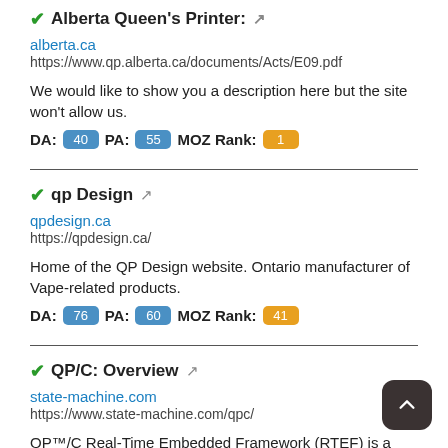Alberta Queen's Printer: ↗
alberta.ca
https://www.qp.alberta.ca/documents/Acts/E09.pdf
We would like to show you a description here but the site won't allow us.
DA: 40  PA: 55  MOZ Rank: 1
qp Design ↗
qpdesign.ca
https://qpdesign.ca/
Home of the QP Design website. Ontario manufacturer of Vape-related products.
DA: 76  PA: 60  MOZ Rank: 41
QP/C: Overview ↗
state-machine.com
https://www.state-machine.com/qpc/
QP™/C Real-Time Embedded Framework (RTEF) is a lightweight implementation of the Active Object model of